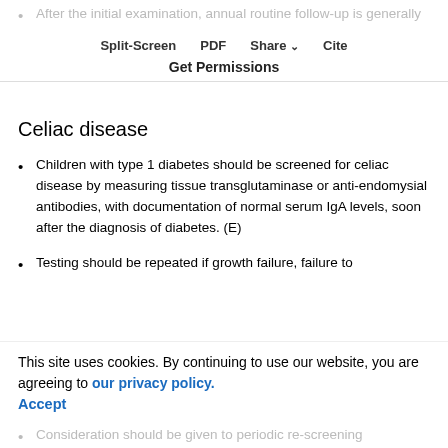After the initial examination, annual routine follow-up is generally recommended. Less frequent examinations may be acceptable on the advice of an eye care professional. (E)
Split-Screen | PDF | Share | Cite | Get Permissions
Celiac disease
Children with type 1 diabetes should be screened for celiac disease by measuring tissue transglutaminase or anti-endomysial antibodies, with documentation of normal serum IgA levels, soon after the diagnosis of diabetes. (E)
Testing should be repeated if growth failure, failure to thrive, unexplained weight loss, gastrointestinal symptoms, or unexplained hypoglycemia or deterioration in glycemic control occurs.
This site uses cookies. By continuing to use our website, you are agreeing to our privacy policy. Accept
Consideration should be given to periodic re-screening